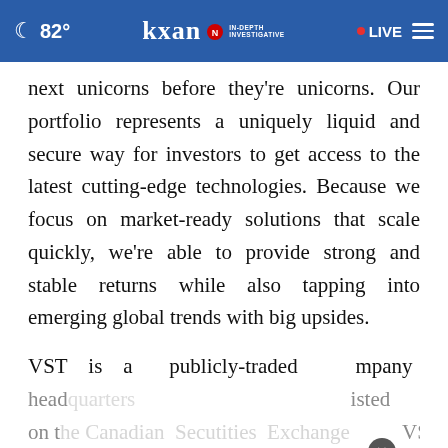82° | KXAN IN-DEPTH INVESTIGATIVE | LIVE
next unicorns before they're unicorns. Our portfolio represents a uniquely liquid and secure way for investors to get access to the latest cutting-edge technologies. Because we focus on market-ready solutions that scale quickly, we're able to provide strong and stable returns while also tapping into emerging global trends with big upsides.
VST is a publicly-traded company headquartered... listed on the Canadian Securities Exchange (VST),
[Figure (screenshot): Advertisement overlay showing two people in a black and white photo with cyan text reading 'Never stop being a dad.' and a close button]